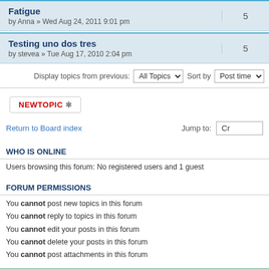| Topic | Replies |
| --- | --- |
| Fatigue
by Anna » Wed Aug 24, 2011 9:01 pm | 5 |
| Testing uno dos tres
by stevea » Tue Aug 17, 2010 2:04 pm | 5 |
Display topics from previous: All Topics   Sort by Post time
[Figure (other): NEWTOPIC button with asterisk icon]
Return to Board index   Jump to: Cr
WHO IS ONLINE
Users browsing this forum: No registered users and 1 guest
FORUM PERMISSIONS
You cannot post new topics in this forum
You cannot reply to topics in this forum
You cannot edit your posts in this forum
You cannot delete your posts in this forum
You cannot post attachments in this forum
Board index   The team •   Powered by phpBB © 2000, 2002, 2005, 2007 phpBB